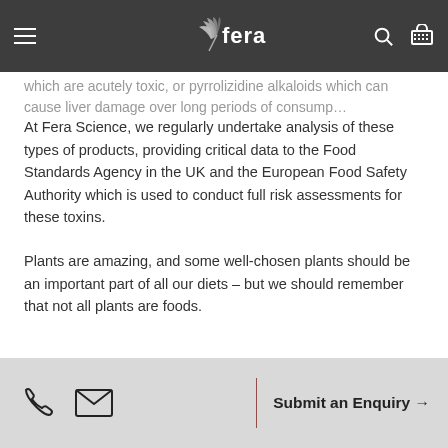Fera Science navigation bar
which are acutely toxic, or pyrrolizidine alkaloids which can cause liver damage over long periods of consump…
At Fera Science, we regularly undertake analysis of these types of products, providing critical data to the Food Standards Agency in the UK and the European Food Safety Authority which is used to conduct full risk assessments for these toxins.
Plants are amazing, and some well-chosen plants should be an important part of all our diets – but we should remember that not all plants are foods.
food contaminants
horizonscan
plants
plant toxins
Share:
Submit an Enquiry →